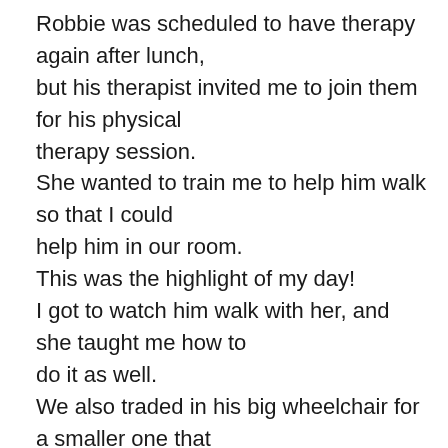Robbie was scheduled to have therapy again after lunch, but his therapist invited me to join them for his physical therapy session. She wanted to train me to help him walk so that I could help him in our room. This was the highlight of my day! I got to watch him walk with her, and she taught me how to do it as well. We also traded in his big wheelchair for a smaller one that he can use all by himself for longer distances. After that, he continued therapy until around 3:00 p.m. while I worked.

His amazing nurse joined us when Rob returned to our room to let us know she had the order to remove his staples